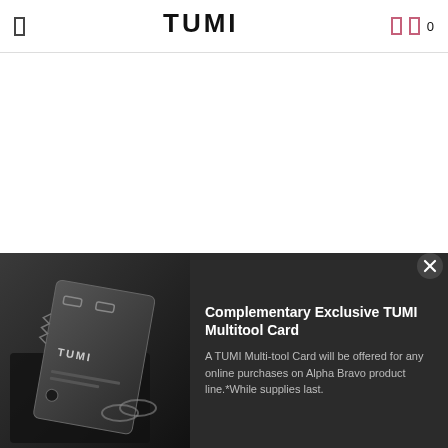TUMI
[Figure (photo): TUMI Multitool Card product photo showing a dark metallic multi-tool card with TUMI branding next to a black wallet]
Complementary Exclusive TUMI Multitool Card
A TUMI Multi-tool Card will be offered for any online purchases on Alpha Bravo product line.*While supplies last.